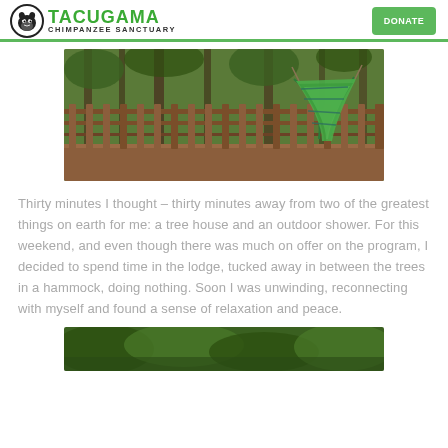TACUGAMA CHIMPANZEE SANCTUARY
[Figure (photo): A wooden deck or balcony with vertical wooden railings, surrounded by forest trees. A colorful green and blue striped hammock hangs from the structure.]
Thirty minutes I thought – thirty minutes away from two of the greatest things on earth for me: a tree house and an outdoor shower. For this weekend, and even though there was much on offer on the program, I decided to spend time in the lodge, tucked away in between the trees in a hammock, doing nothing. Soon I was unwinding, reconnecting with myself and found a sense of relaxation and peace.
[Figure (photo): Partial view of a lush green jungle or forest scene at the bottom of the page.]